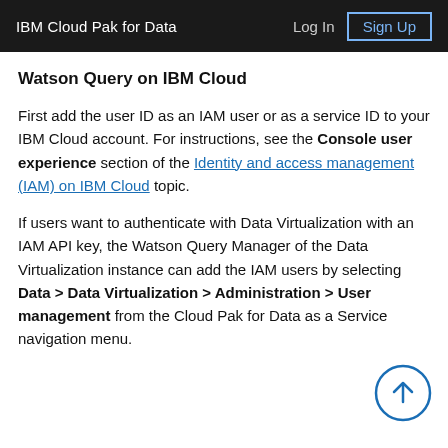IBM Cloud Pak for Data   Log In   Sign Up
Watson Query on IBM Cloud
First add the user ID as an IAM user or as a service ID to your IBM Cloud account. For instructions, see the Console user experience section of the Identity and access management (IAM) on IBM Cloud topic.
If users want to authenticate with Data Virtualization with an IAM API key, the Watson Query Manager of the Data Virtualization instance can add the IAM users by selecting Data > Data Virtualization > Administration > User management from the Cloud Pak for Data as a Service navigation menu.